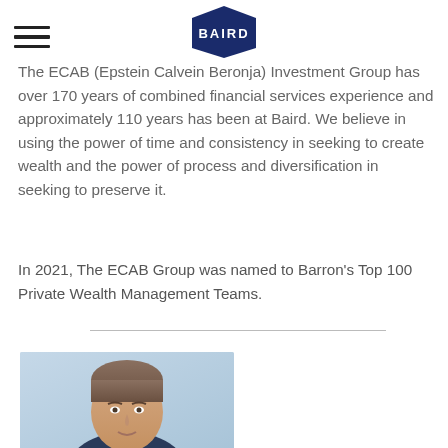BAIRD
The ECAB (Epstein Calvein Beronja) Investment Group has over 170 years of combined financial services experience and approximately 110 years has been at Baird. We believe in using the power of time and consistency in seeking to create wealth and the power of process and diversification in seeking to preserve it.
In 2021, The ECAB Group was named to Barron's Top 100 Private Wealth Management Teams.
[Figure (photo): Headshot photo of a man with short brown/grey hair against a light blue background]